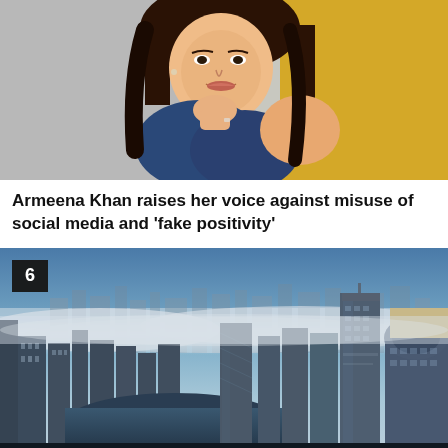[Figure (photo): Portrait photo of Armeena Khan, a woman with long dark hair wearing a blue dress, resting her chin on her hand, with a gray and yellow background]
Armeena Khan raises her voice against misuse of social media and ‘fake positivity’
[Figure (photo): Aerial view of a foggy Dubai cityscape with tall skyscrapers emerging from clouds, waterway visible, blue sky above]